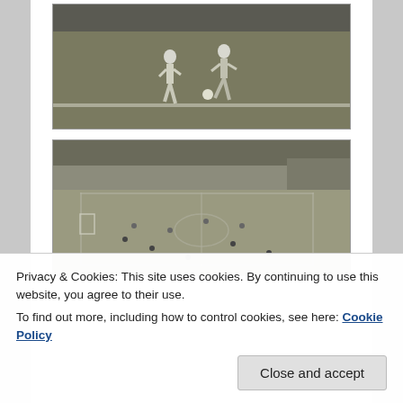[Figure (photo): Black and white vintage photograph of two football/soccer players on a pitch, one wearing number 3, with a stadium crowd visible in the background.]
[Figure (photo): Black and white vintage aerial/elevated photograph of a football stadium showing the full pitch with players, packed stands, and trees visible behind the stadium.]
Privacy & Cookies: This site uses cookies. By continuing to use this website, you agree to their use.
To find out more, including how to control cookies, see here: Cookie Policy
Close and accept